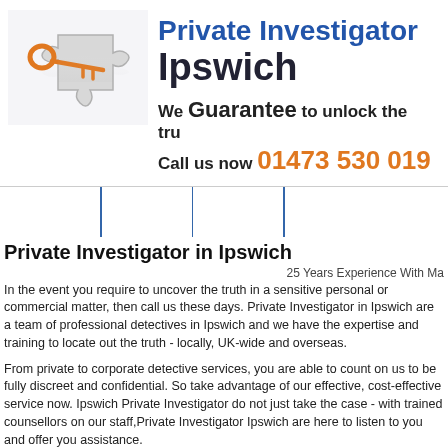[Figure (illustration): A puzzle piece with an orange key inserted into it, representing unlocking the truth. The puzzle piece is white/grey and 3D rendered, with a reflection below it.]
Private Investigator Ipswich
We Guarantee to unlock the truth
Call us now 01473 530 019
Private Investigator in Ipswich
25 Years Experience With Ma
In the event you require to uncover the truth in a sensitive personal or commercial matter, then call us these days. Private Investigator in Ipswich are a team of professional detectives in Ipswich and we have the expertise and training to locate out the truth - locally, UK-wide and overseas.
From private to corporate detective services, you are able to count on us to be fully discreet and confidential. So take advantage of our effective, cost-effective service now. Ipswich Private Investigator do not just take the case - with trained counsellors on our staff,Private Investigator Ipswich are here to listen to you and offer you assistance.